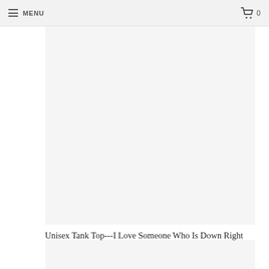☰ MENU   🛒 0
[Figure (photo): Product image area for a unisex tank top, shown as a light gray placeholder rectangle]
Unisex Tank Top---I Love Someone Who Is Down Right Capable---Click for More Shirt Colors
from $27.00